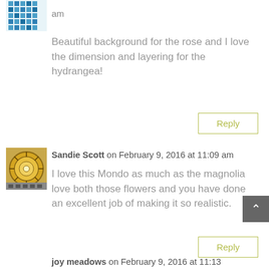[Figure (illustration): Blue pixel/mosaic style avatar icon in top left]
am
Beautiful background for the rose and I love the dimension and layering for the hydrangea!
Reply
[Figure (photo): Small square avatar photo of a decorative plate/mandala artwork]
Sandie Scott on February 9, 2016 at 11:09 am
I love this Mondo as much as the magnolia love both those flowers and you have done an excellent job of making it so realistic.
Reply
joy meadows on February 9, 2016 at 11:13